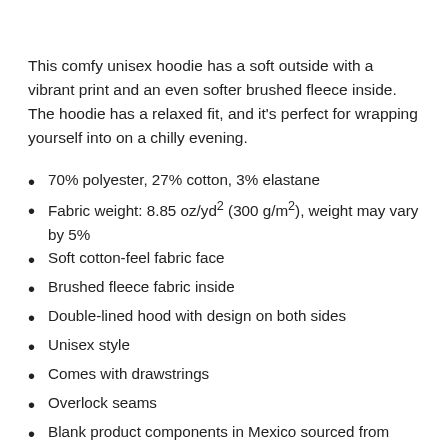This comfy unisex hoodie has a soft outside with a vibrant print and an even softer brushed fleece inside. The hoodie has a relaxed fit, and it's perfect for wrapping yourself into on a chilly evening.
70% polyester, 27% cotton, 3% elastane
Fabric weight: 8.85 oz/yd² (300 g/m²), weight may vary by 5%
Soft cotton-feel fabric face
Brushed fleece fabric inside
Double-lined hood with design on both sides
Unisex style
Comes with drawstrings
Overlock seams
Blank product components in Mexico sourced from Poland and Mexico
Blank product components in the EU sourced from China and